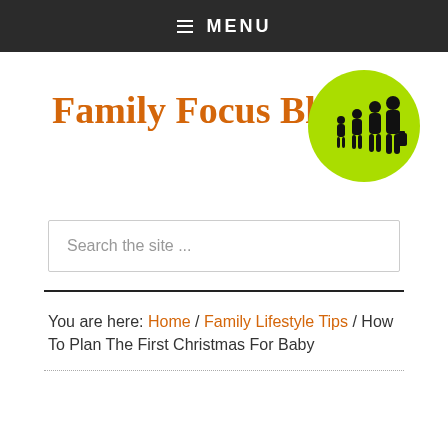☰ MENU
Family Focus Blog
[Figure (illustration): Lime green circle with black silhouette of a family (two adults, two children, one with luggage)]
Search the site ...
You are here: Home / Family Lifestyle Tips / How To Plan The First Christmas For Baby